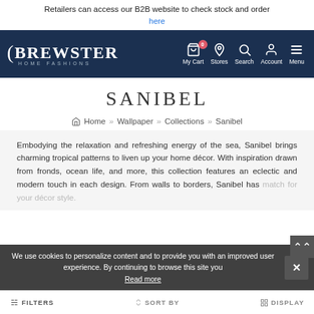Retailers can access our B2B website to check stock and order here
[Figure (screenshot): Brewster Home Fashions navigation bar with logo, cart, stores, search, account and menu icons on dark navy background]
SANIBEL
Home >> Wallpaper >> Collections >> Sanibel
Embodying the relaxation and refreshing energy of the sea, Sanibel brings charming tropical patterns to liven up your home décor. With inspiration drawn from fronds, ocean life, and more, this collection features an eclectic and modern touch in each design. From walls to borders, Sanibel has a match for your décor style.
We use cookies to personalize content and to provide you with an improved user experience. By continuing to browse this site you Read more
FILTERS  SORT BY  DISPLAY